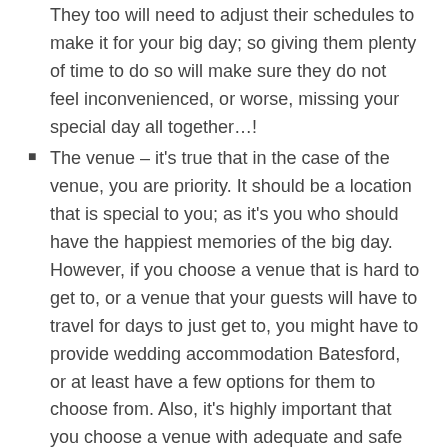They too will need to adjust their schedules to make it for your big day; so giving them plenty of time to do so will make sure they do not feel inconvenienced, or worse, missing your special day all together…!
The venue – it's true that in the case of the venue, you are priority. It should be a location that is special to you; as it's you who should have the happiest memories of the big day. However, if you choose a venue that is hard to get to, or a venue that your guests will have to travel for days to just get to, you might have to provide wedding accommodation Batesford, or at least have a few options for them to choose from. Also, it's highly important that you choose a venue with adequate and safe parking…
The time – if you have selected a weekday for your big day, chances are, unlike you, your guests will have to go to work and